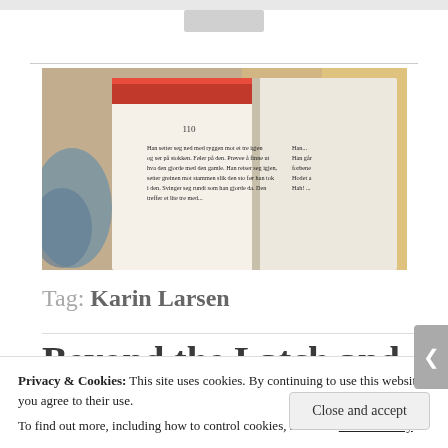[Figure (photo): Open book with red spine showing page 110 with Norwegian text beginning 'Han setter seg ned med ryggen mot et tre igjen og ser på stokken...']
Tag: Karin Larsen
Beyond the Latch and
Privacy & Cookies: This site uses cookies. By continuing to use this website, you agree to their use.
To find out more, including how to control cookies, see here: Cookie Policy
Close and accept